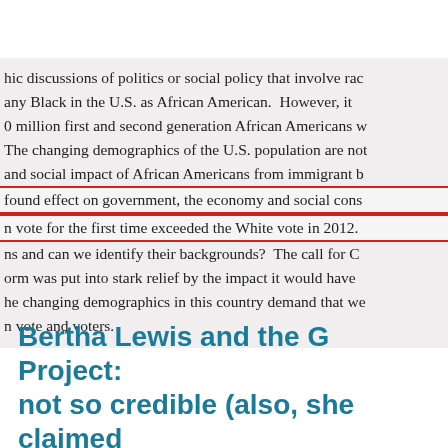hic discussions of politics or social policy that involve rac any Black in the U.S. as African American. However, it 0 million first and second generation African Americans w The changing demographics of the U.S. population are not and social impact of African Americans from immigrant b found effect on government, the economy and social cons n vote for the first time exceeded the White vote in 2012. ns and can we identify their backgrounds? The call for C orm was put into stark relief by the impact it would have he changing demographics in this country demand that we n vote and voters.
Bertha Lewis and the G Project: not so credible (also, she claimed Ratner could build all market